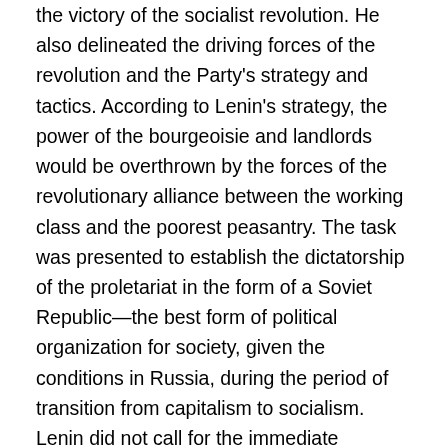the victory of the socialist revolution. He also delineated the driving forces of the revolution and the Party's strategy and tactics. According to Lenin's strategy, the power of the bourgeoisie and landlords would be overthrown by the forces of the revolutionary alliance between the working class and the poorest peasantry. The task was presented to establish the dictatorship of the proletariat in the form of a Soviet Republic—the best form of political organization for society, given the conditions in Russia, during the period of transition from capitalism to socialism. Lenin did not call for the immediate overthrow of the Provisional Government at this time, since it had the support of the soviets. Considering the peculiarities of the historical moment, Lenin warned against ultra-left adventuristic attempts to make a frontal assault upon the Provisional Government, as well as a right-opportunist attitude of confidence in it. He put forward the demand of "no support